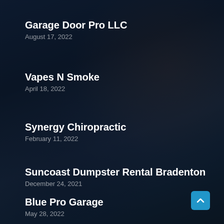Garage Door Pro LLC
August 17, 2022
Vapes N Smoke
April 18, 2022
Synergy Chiropractic
February 11, 2022
Suncoast Dumpster Rental Bradenton
December 24, 2021
Blue Pro Garage
May 28, 2022